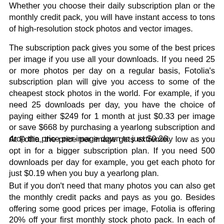Whether you choose their daily subscription plan or the monthly credit pack, you will have instant access to tons of high-resolution stock photos and vector images.
The subscription pack gives you some of the best prices per image if you use all your downloads. If you need 25 or more photos per day on a regular basis, Fotolia's subscription plan will give you access to some of the cheapest stock photos in the world. For example, if you need 25 downloads per day, you have the choice of paying either $249 for 1 month at just $0.33 per image or save $668 by purchasing a yearlong subscription and drop the price per image down to just $0.26.
At Fotlia, the price per image gets extremely low as you opt in for a bigger subscription plan. If you need 500 downloads per day for example, you get each photo for just $0.19 when you buy a yearlong plan.
But if you don't need that many photos you can also get the monthly credit packs and pays as you go. Besides offering some good prices per image, Fotolia is offering 20% off your first monthly stock photo pack. In each of these packs you get to download either XXL photos or medium images. For just $120, you get